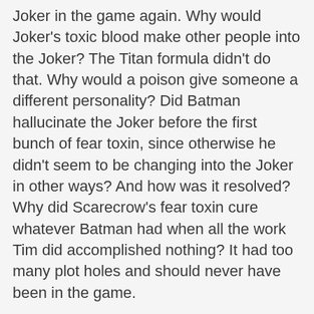Joker in the game again. Why would Joker's toxic blood make other people into the Joker? The Titan formula didn't do that. Why would a poison give someone a different personality? Did Batman hallucinate the Joker before the first bunch of fear toxin, since otherwise he didn't seem to be changing into the Joker in other ways? And how was it resolved? Why did Scarecrow's fear toxin cure whatever Batman had when all the work Tim did accomplished nothing? It had too many plot holes and should never have been in the game.
And while I did like the main plot for the most part I did not like how many times it kept going because Batman would do stupid things like get jumped or attack Scarecrow blindly or get